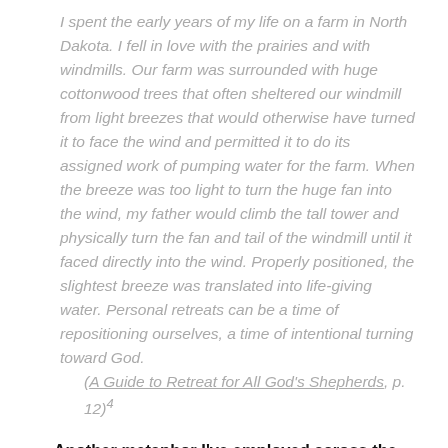I spent the early years of my life on a farm in North Dakota. I fell in love with the prairies and with windmills. Our farm was surrounded with huge cottonwood trees that often sheltered our windmill from light breezes that would otherwise have turned it to face the wind and permitted it to do its assigned work of pumping water for the farm. When the breeze was too light to turn the huge fan into the wind, my father would climb the tall tower and physically turn the fan and tail of the windmill until it faced directly into the wind. Properly positioned, the slightest breeze was translated into life-giving water. Personal retreats can be a time of repositioning ourselves, a time of intentional turning toward God. (A Guide to Retreat for All God's Shepherds, p. 12)⁴
Another metaphor I've employed across the